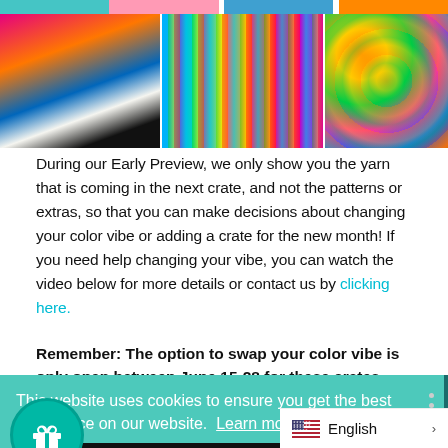[Figure (photo): Collage of colorful photos: architectural shapes, rainbow corridor, colorful umbrellas]
During our Early Preview, we only show you the yarn that is coming in the next crate, and not the patterns or extras, so that you can make decisions about changing your color vibe or adding a crate for the new month! If you need help changing your vibe, you can watch the video below for more details or contact us by clicking here.
Remember: The option to swap your color vibe is only open between June 15-28 for these crates.
This website uses cookies to ensure you get the best experience on our website. Learn more
Accept